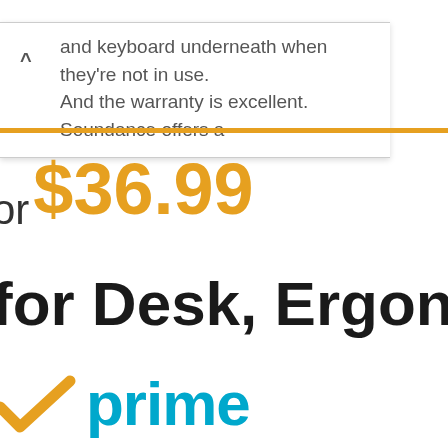and keyboard underneath when they're not in use. And the warranty is excellent. Soundance offers a
or $36.99
for Desk, Ergono…
[Figure (logo): Amazon Prime logo with orange checkmark and 'prime' in cyan/blue text]